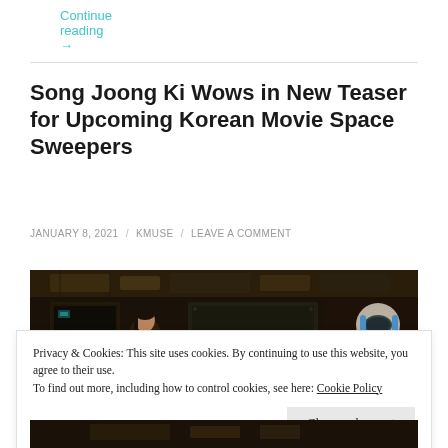Continue reading →
Song Joong Ki Wows in New Teaser for Upcoming Korean Movie Space Sweepers
JANUARY 8, 2021 / KMUSE / LEAVE A COMMENT
[Figure (photo): Dark cinematic still from Space Sweepers movie showing two characters in a spacecraft interior — a woman on the left and a person in a red jacket with a helmet on the right]
Privacy & Cookies: This site uses cookies. By continuing to use this website, you agree to their use.
To find out more, including how to control cookies, see here: Cookie Policy
Close and accept
[Figure (photo): Bottom portion of another dark cinematic image from the movie]